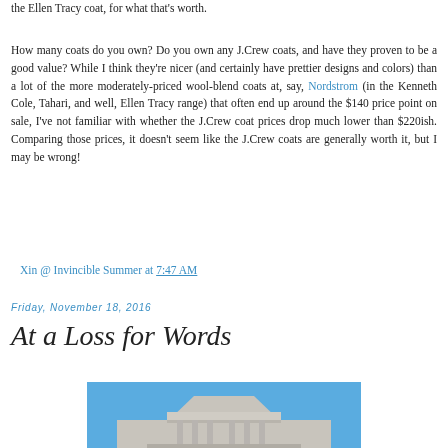the Ellen Tracy coat, for what that's worth.
How many coats do you own? Do you own any J.Crew coats, and have they proven to be a good value? While I think they're nicer (and certainly have prettier designs and colors) than a lot of the more moderately-priced wool-blend coats at, say, Nordstrom (in the Kenneth Cole, Tahari, and well, Ellen Tracy range) that often end up around the $140 price point on sale, I've not familiar with whether the J.Crew coat prices drop much lower than $220ish. Comparing those prices, it doesn't seem like the J.Crew coats are generally worth it, but I may be wrong!
Xin @ Invincible Summer at 7:47 AM
Friday, November 18, 2016
At a Loss for Words
[Figure (photo): Photograph of a classical building with a pediment/cornice at the top against a blue sky, appearing to be a government or judicial building such as the Supreme Court.]